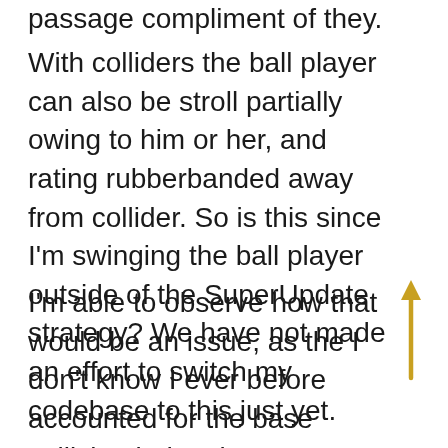passage compliment of they.
With colliders the ball player can also be stroll partially owing to him or her, and rating rubberbanded away from collider. So is this since I'm swinging the ball player outside of the SuperUpdate strategy? We have not made an effort to switch my codebase to this just yet.
I'm able to observe how that would be an issue, as the I don't know I ever before accounted for the base collision industries not aligned on the surface. However an oversight on my area.
[Figure (other): A gold/yellow upward-pointing arrow on the right side of the page]